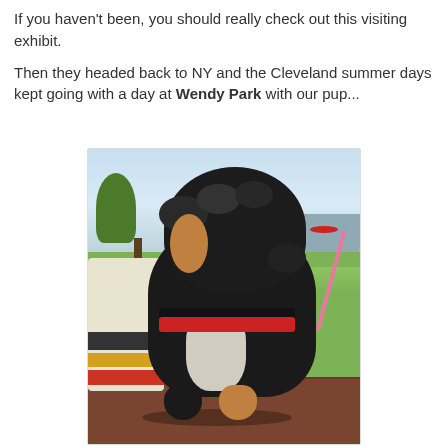If you haven't been, you should really check out this visiting exhibit.

Then they headed back to NY and the Cleveland summer days kept going with a day at Wendy Park with our pup...
[Figure (photo): A black and white fluffy puppy with curly fur, wearing a black collar and red harness with a pink leash, sitting on a bench at Wendy Park. Green grass, trees, and a lake/water body visible in the background with a red kayak on the water.]